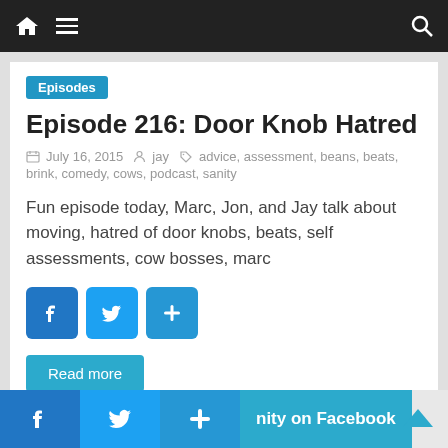Navigation bar with home icon, hamburger menu, and search icon
Episodes
Episode 216: Door Knob Hatred
July 16, 2015  jay  advice, assessment, beans, beats, brink, comedy, cows, podcast, sanity
Fun episode today, Marc, Jon, and Jay talk about moving, hatred of door knobs, beats, self assessments, cow bosses, marc
Read more
nity on Facebook